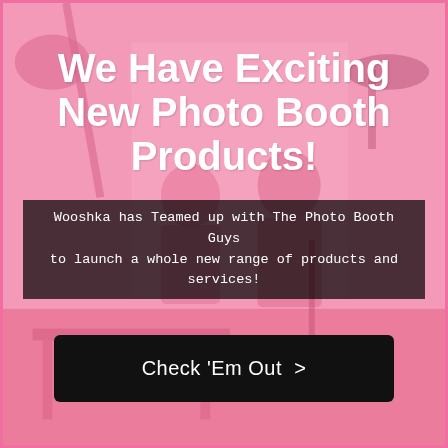[Figure (photo): Pink-toned photo booth scene with people posing in front of a pink backdrop, studio lighting equipment visible, overlaid with pink color wash]
We Have Exciting New Photo Booth Products!
Wooshka has Teamed up with The Photo Booth Guys to launch a whole new range of products and services!
Check 'Em Out >